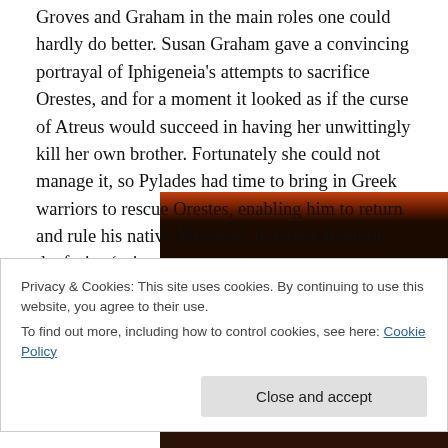Groves and Graham in the main roles one could hardly do better. Susan Graham gave a convincing portrayal of Iphigeneia's attempts to sacrifice Orestes, and for a moment it looked as if the curse of Atreus would succeed in having her unwittingly kill her own brother. Fortunately she could not manage it, so Pylades had time to bring in Greek warriors to rescue Orestes, enabling him to return and rule his native Mycenae. In Greek tradition the furies (erinyes) were replaced by the eumenides, and Orestes was redeemed.
[Figure (photo): Dark theatrical performance photograph, partially obscured by cookie banner]
Privacy & Cookies: This site uses cookies. By continuing to use this website, you agree to their use.
To find out more, including how to control cookies, see here: Cookie Policy
Close and accept